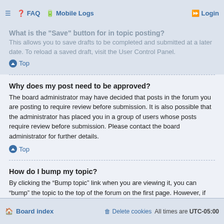FAQ  Mobile Logs  Login
What is the "Save" button for in topic posting?
This allows you to save drafts to be completed and submitted at a later date. To reload a saved draft, visit the User Control Panel.
Top
Why does my post need to be approved?
The board administrator may have decided that posts in the forum you are posting to require review before submission. It is also possible that the administrator has placed you in a group of users whose posts require review before submission. Please contact the board administrator for further details.
Top
How do I bump my topic?
By clicking the “Bump topic” link when you are viewing it, you can “bump” the topic to the top of the forum on the first page. However, if you do not see this, then topic bumping may be disabled or the time allowance between bumps has not yet been reached. It is also possible to bump the topic simply by replying to it, however, be sure to follow the board rules when doing so.
Top
Formatting and Topic Types
Board index  Delete cookies  All times are UTC-05:00